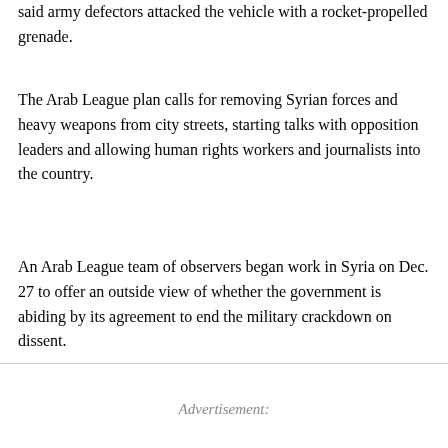said army defectors attacked the vehicle with a rocket-propelled grenade.
The Arab League plan calls for removing Syrian forces and heavy weapons from city streets, starting talks with opposition leaders and allowing human rights workers and journalists into the country.
An Arab League team of observers began work in Syria on Dec. 27 to offer an outside view of whether the government is abiding by its agreement to end the military crackdown on dissent.
Advertisement: